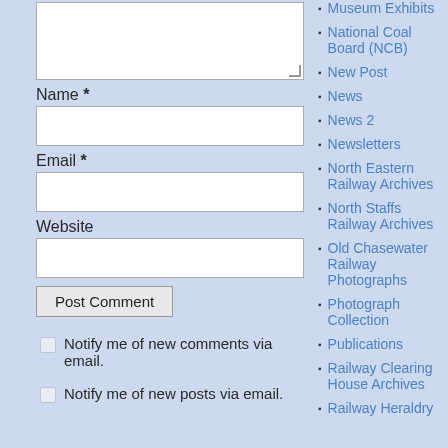[Figure (screenshot): Comment form textarea (top, partially visible)]
Name *
[Figure (screenshot): Name input field (empty text box)]
Email *
[Figure (screenshot): Email input field (empty text box)]
Website
[Figure (screenshot): Website input field (empty text box)]
[Figure (screenshot): Post Comment button]
Notify me of new comments via email.
Notify me of new posts via email.
Museum Exhibits
National Coal Board (NCB)
New Post
News
News 2
Newsletters
North Eastern Railway Archives
North Staffs Railway Archives
Old Chasewater Railway Photographs
Photograph Collection
Publications
Railway Clearing House Archives
Railway Heraldry